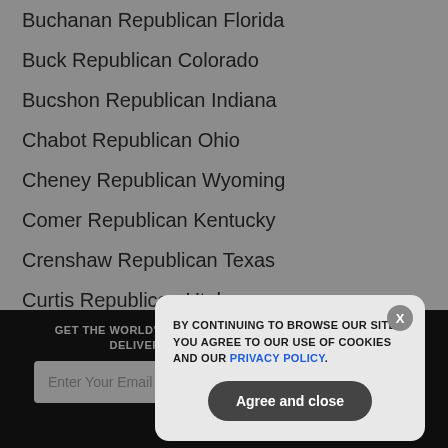Buchanan Republican Florida
Buck Republican Colorado
Bucshon Republican Indiana
Chabot Republican Ohio
Cheney Republican Wyoming
Comer Republican Kentucky
Crenshaw Republican Texas
Curtis Republican Utah
Davis, Rodney Republican Illinois
GET THE WORLD'S BEST NATURAL HEALTH NEWSLETTER DELIVERED STRAIGHT TO YOUR INBOX
Enter Your Email Address
SUBSCRIBE
BY CONTINUING TO BROWSE OUR SITE YOU AGREE TO OUR USE OF COOKIES AND OUR PRIVACY POLICY.
Agree and close